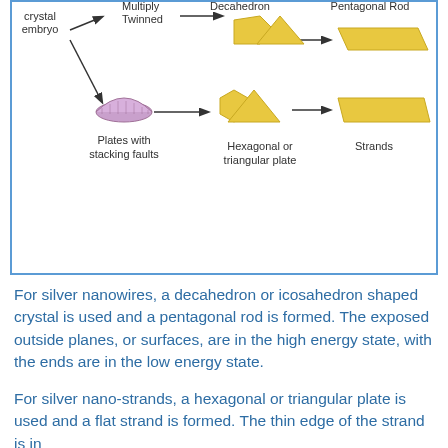[Figure (flowchart): Diagram showing crystal growth pathways: a crystal embryo branches into 'Multiply Twinned' leading to Decahedron then Pentagonal Rod, and 'Plates with stacking faults' leading to Hexagonal or triangular plate then Strands.]
For silver nanowires, a decahedron or icosahedron shaped crystal is used and a pentagonal rod is formed. The exposed outside planes, or surfaces, are in the high energy state, with the ends are in the low energy state.
For silver nano-strands, a hexagonal or triangular plate is used and a flat strand is formed. The thin edge of the strand is in the low energy state and the faces of...